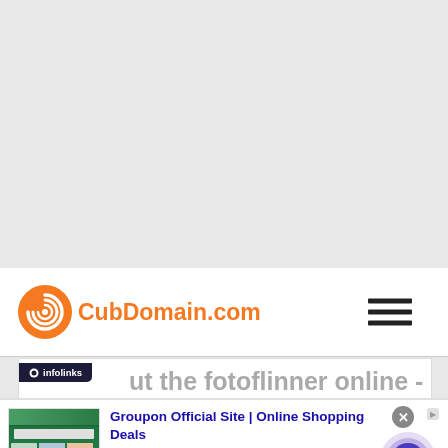[Figure (logo): CubDomain.com logo with orange spiral/globe icon and orange text, plus hamburger menu icon]
ut the fotoflinner online - Basic
[Figure (screenshot): Infolinks ad overlay: Groupon Official Site | Online Shopping Deals - Discover & Save with Over 300k of the Best Deals - www.groupon.com, with images on left and circular arrow button on right]
Groupon Official Site | Online Shopping Deals
Discover & Save with Over 300k of the Best Deals
www.groupon.com